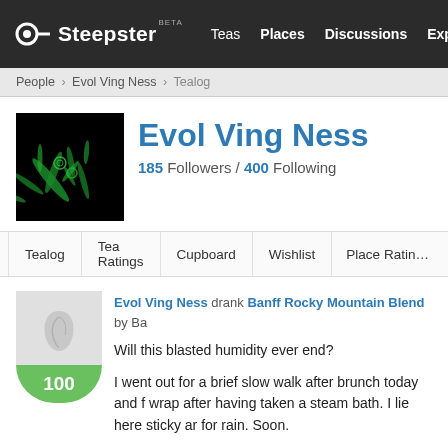Steepster BETA | Teas | Places | Discussions | Explore
People › Evol Ving Ness › Tealog
Evol Ving Ness
185 Followers / 400 Following
Tealog
Tea Ratings
Cupboard
Wishlist
Place Ratings
Evol Ving Ness drank Banff Rocky Mountain Blend by Ba
Will this blasted humidity ever end?

I went out for a brief slow walk after brunch today and f wrap after having taken a steam bath. I lie here sticky ar for rain. Soon.